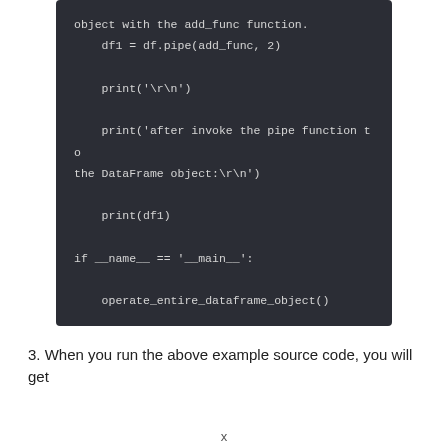[Figure (screenshot): Dark-themed code block showing Python code snippet: object with the add_func function, df1 = df.pipe(add_func, 2), print('\r\n'), print('after invoke the pipe function to the DataFrame object:\r\n'), print(df1), if __name__ == '__main__':, operate_entire_dataframe_object()]
3. When you run the above example source code, you will get